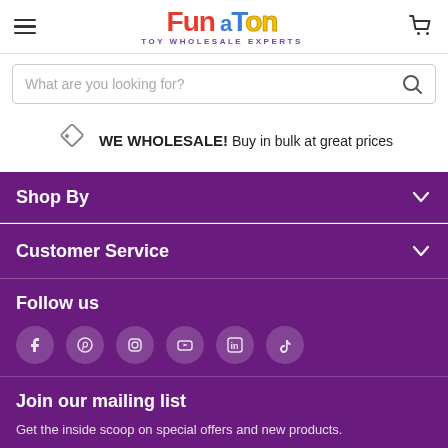Fun a Ton — TOY WHOLESALE EXPERTS (header with hamburger menu and cart)
What are you looking for? (search bar)
WE WHOLESALE! Buy in bulk at great prices
Shop By
Customer Service
Follow us
Join our mailing list
Get the inside scoop on special offers and new products.